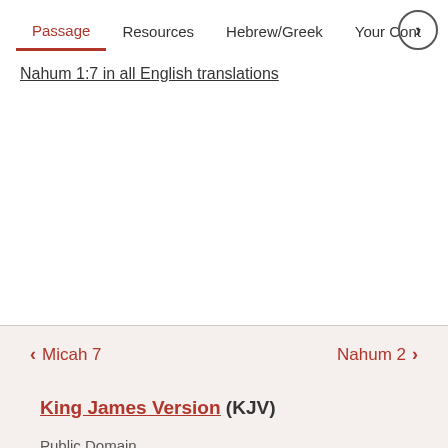Passage  Resources  Hebrew/Greek  Your Cont…
Nahum 1:7 in all English translations
< Micah 7    Nahum 2 >
King James Version (KJV)
Public Domain